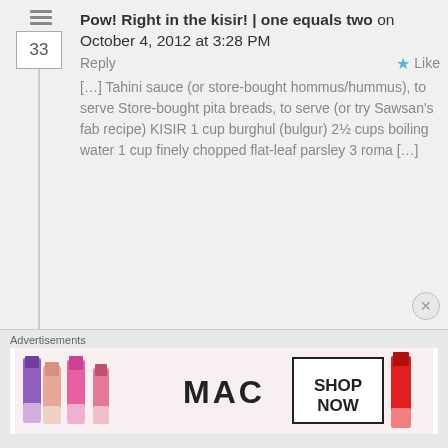33
Pow! Right in the kisir! | one equals two on October 4, 2012 at 3:28 PM
Reply
Like
[…] Tahini sauce (or store-bought hommus/hummus), to serve Store-bought pita breads, to serve (or try Sawsan's fab recipe) KISIR 1 cup burghul (bulgur) 2½ cups boiling water 1 cup finely chopped flat-leaf parsley 3 roma […]
34
[Figure (photo): Avatar photo of Villy, a woman with dark hair]
Villy on October 4, 2012 at 6:14 PM
Reply
Like
It's my next goal to make homemade pita bread, because we really love it at home. Your photos are as usual
Advertisements
[Figure (screenshot): MAC cosmetics advertisement showing lipsticks with text SHOP NOW]